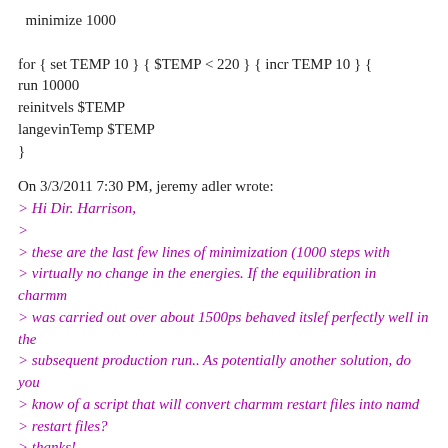minimize 1000

for { set TEMP 10 } { $TEMP < 220 } { incr TEMP 10 } {
run 10000
reinitvels $TEMP
langevinTemp $TEMP
}
On 3/3/2011 7:30 PM, jeremy adler wrote:
> Hi Dir. Harrison,
>
> these are the last few lines of minimization (1000 steps with
> virtually no change in the energies. If the equilibration in charmm
> was carried out over about 1500ps behaved itslef perfectly well in the
> subsequent production run.. As potentially another solution, do you
> know of a script that will convert charmm restart files into namd
> restart files?
> thanks!
>
> Jeremy
>
> starting system: